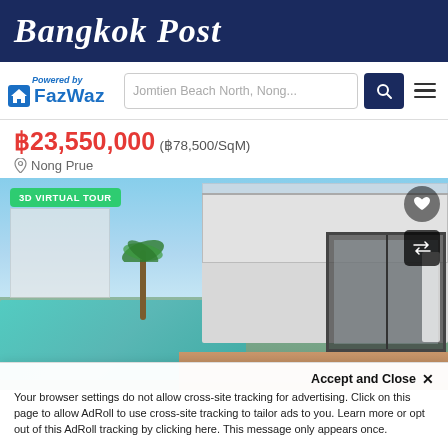Bangkok Post
[Figure (logo): FazWaz powered-by logo with house icon and search bar showing 'Jomtien Beach North, Nong...']
฿23,550,000 (฿78,500/SqM)
Nong Prue
[Figure (photo): Modern two-story villa with private swimming pool, glass sliding doors, wooden deck, palm trees and garden in background. Shows '3D VIRTUAL TOUR' badge, heart and swap icons.]
Accept and Close ×
Your browser settings do not allow cross-site tracking for advertising. Click on this page to allow AdRoll to use cross-site tracking to tailor ads to you. Learn more or opt out of this AdRoll tracking by clicking here. This message only appears once.